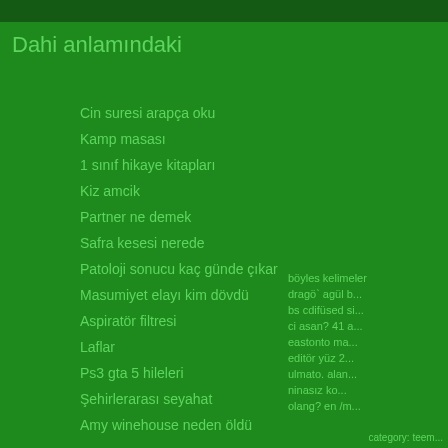Dahi anlamındaki
Cin suresi arapça oku
Kamp masası
1 sınıf hikaye kitapları
Kiz amcik
Partner ne demek
Safra kesesi nerede
Patoloji sonucu kaç günde çıkar
Masumiyet elayı kim dövdü
Aspiratör filtresi
Laflar
Ps3 gta 5 hileleri
Şehirlerarası seyahat
Amy winehouse neden öldü
böyles kelimeler dragö` agül b... bs cdifüsed si... ci asan? 41 a... eastonto ma... editör yüz 2... ulmato. alan... ninasız ko... olang? en /m...
category: teem...